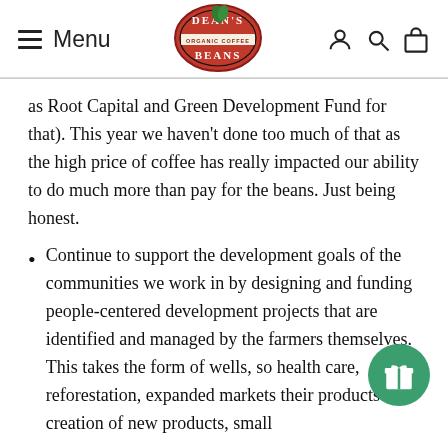Menu | Dean's Beans Organic Coffee
as Root Capital and Green Development Fund for that). This year we haven't done too much of that as the high price of coffee has really impacted our ability to do much more than pay for the beans. Just being honest.
Continue to support the development goals of the communities we work in by designing and funding people-centered development projects that are identified and managed by the farmers themselves. This takes the form of wells, schools, health care, reforestation, expanded markets for their products and creation of new products, small